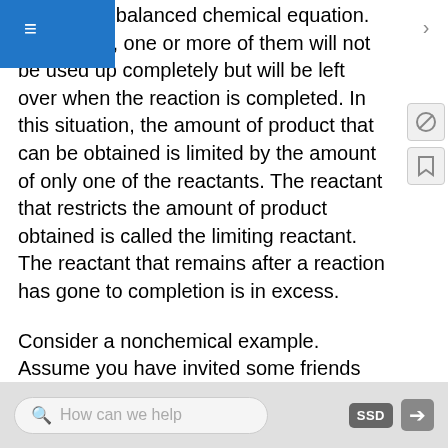ents in the balanced chemical equation. As a result, one or more of them will not be used up completely but will be left over when the reaction is completed. In this situation, the amount of product that can be obtained is limited by the amount of only one of the reactants. The reactant that restricts the amount of product obtained is called the limiting reactant. The reactant that remains after a reaction has gone to completion is in excess.
Consider a nonchemical example. Assume you have invited some friends for dinner and want to bake brownies for dessert. You find two boxes of brownie mix in your pantry and see that each package requires two eggs. The balanced equation for brownie preparation is thus
How can we help